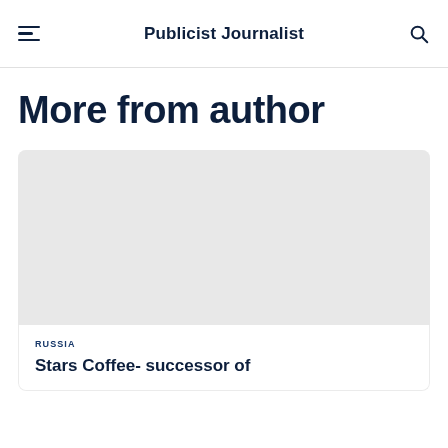Publicist Journalist
More from author
RUSSIA
Stars Coffee- successor of